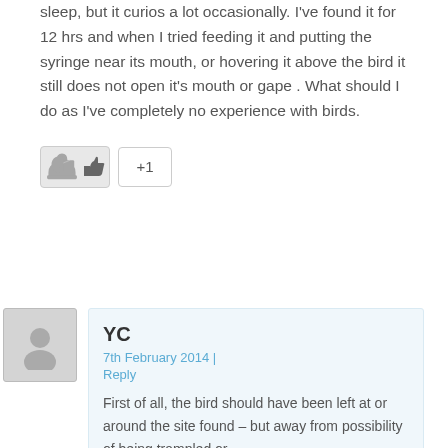sleep, but it curios a lot occasionally. I've found it for 12 hrs and when I tried feeding it and putting the syringe near its mouth, or hovering it above the bird it still does not open it's mouth or gape . What should I do as I've completely no experience with birds.
[Figure (other): Like button (thumbs up icon) and +1 button]
[Figure (other): Avatar placeholder silhouette image for commenter YC]
YC
7th February 2014 | Reply
First of all, the bird should have been left at or around the site found – but away from possibility of being trampled or